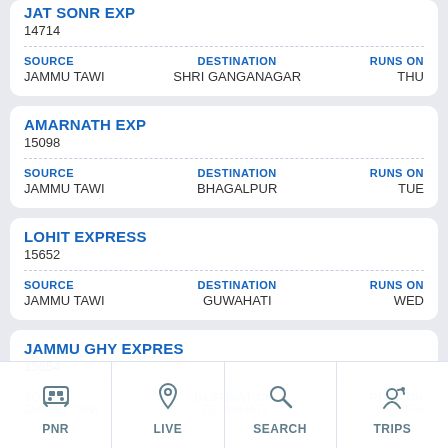JAT SONR EXP
14714
| SOURCE | DESTINATION | RUNS ON |
| --- | --- | --- |
| JAMMU TAWI | SHRI GANGANAGAR | THU |
AMARNATH EXP
15098
| SOURCE | DESTINATION | RUNS ON |
| --- | --- | --- |
| JAMMU TAWI | BHAGALPUR | TUE |
LOHIT EXPRESS
15652
| SOURCE | DESTINATION | RUNS ON |
| --- | --- | --- |
| JAMMU TAWI | GUWAHATI | WED |
JAMMU GHY EXPRES
15654
| SOURCE | DESTINATION | RUNS ON |
| --- | --- | --- |
| JAMMU TAWI | GUWAHATI | FRI |
PNR | LIVE | SEARCH | TRIPS